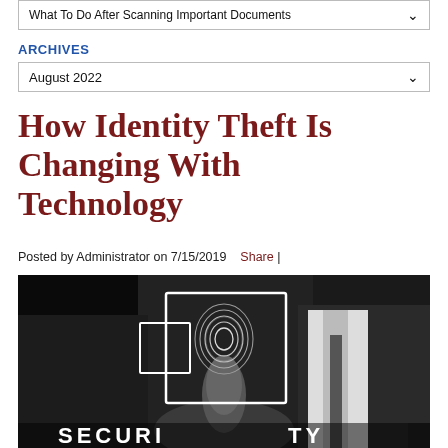What To Do After Scanning Important Documents
ARCHIVES
August 2022
How Identity Theft Is Changing With Technology
Posted by Administrator on 7/15/2019   Share |
[Figure (photo): A person in a dark suit holding up a glowing fingerprint scan icon in front of a digital security interface. The word SECURITY is partially visible at the bottom of the image.]